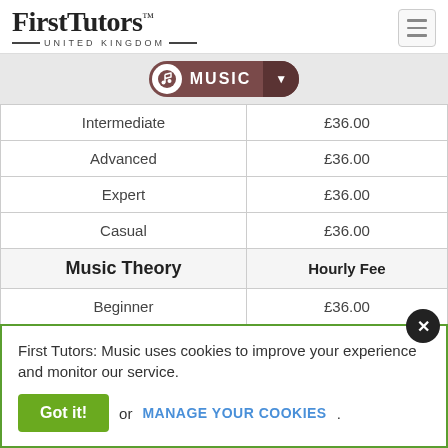FirstTutors™ UNITED KINGDOM
[Figure (other): Music subject pill/badge with music note icon and dropdown arrow]
|  |  |
| --- | --- |
| Intermediate | £36.00 |
| Advanced | £36.00 |
| Expert | £36.00 |
| Casual | £36.00 |
| Music Theory | Hourly Fee |
| Beginner | £36.00 |
| Intermediate | £36.00 |
First Tutors: Music uses cookies to improve your experience and monitor our service.
Got it! or MANAGE YOUR COOKIES.